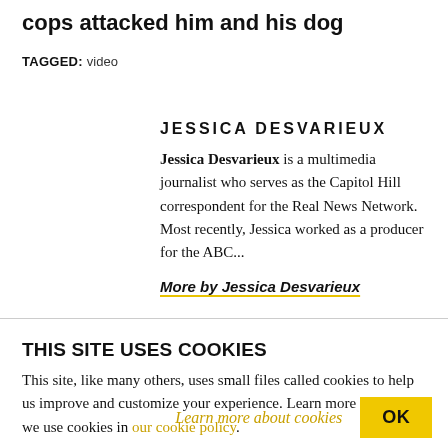cops attacked him and his dog
TAGGED: video
JESSICA DESVARIEUX
Jessica Desvarieux is a multimedia journalist who serves as the Capitol Hill correspondent for the Real News Network. Most recently, Jessica worked as a producer for the ABC...
More by Jessica Desvarieux
THIS SITE USES COOKIES
This site, like many others, uses small files called cookies to help us improve and customize your experience. Learn more about how we use cookies in our cookie policy.
Learn more about cookies
OK